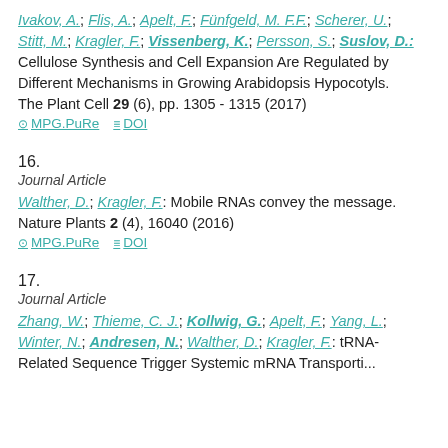Ivakov, A.; Flis, A.; Apelt, F.; Fünfgeld, M. F.F.; Scherer, U.; Stitt, M.; Kragler, F.; Vissenberg, K.; Persson, S.; Suslov, D.: Cellulose Synthesis and Cell Expansion Are Regulated by Different Mechanisms in Growing Arabidopsis Hypocotyls. The Plant Cell 29 (6), pp. 1305 - 1315 (2017)
MPG.PuRe   DOI
16.
Journal Article
Walther, D.; Kragler, F.: Mobile RNAs convey the message. Nature Plants 2 (4), 16040 (2016)
MPG.PuRe   DOI
17.
Journal Article
Zhang, W.; Thieme, C. J.; Kollwig, G.; Apelt, F.; Yang, L.; Winter, N.; Andresen, N.; Walther, D.; Kragler, F.: tRNA-Related Sequence Trigger Systemic mRNA Transport in Plants.